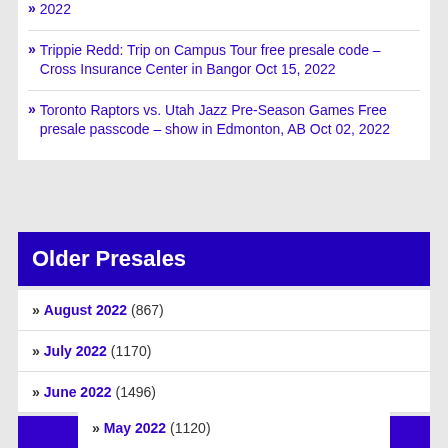2022
Trippie Redd: Trip on Campus Tour free presale code – Cross Insurance Center in Bangor Oct 15, 2022
Toronto Raptors vs. Utah Jazz Pre-Season Games Free presale passcode – show in Edmonton, AB Oct 02, 2022
Older Presales
August 2022 (867)
July 2022 (1170)
June 2022 (1496)
May 2022 (1120)